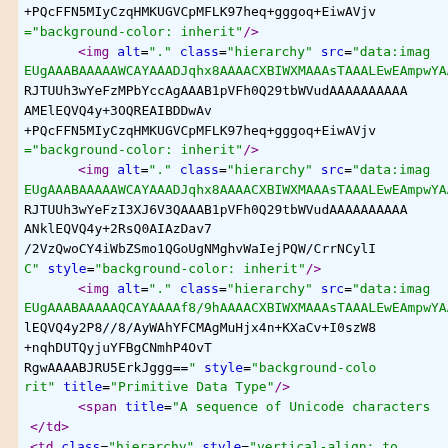[Figure (screenshot): Code editor screenshot showing HTML/XML source code with syntax highlighting. Dark purple tags, blue attribute names, green attribute values on light blue background with orange/tan left margin bar.]